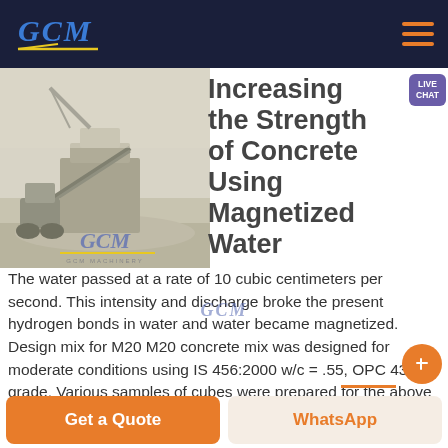GCM (logo) | hamburger menu
[Figure (illustration): Sketch/illustration of a quarry or mining machinery site with excavator and crushing equipment in a dusty environment. GCM Machinery watermark logo overlaid at bottom center.]
Increasing the Strength of Concrete Using Magnetized Water
The water passed at a rate of 10 cubic centimeters per second. This intensity and discharge broke the present hydrogen bonds in water and water became magnetized. Design mix for M20 M20 concrete mix was designed for moderate conditions using IS 456:2000 w/c = .55, OPC 43 grade. Various samples of cubes were prepared for the above
Get a Quote | WhatsApp